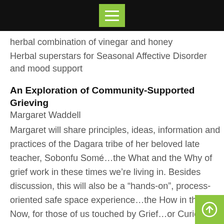herbal combination of vinegar and honey
Herbal superstars for Seasonal Affective Disorder and mood support
An Exploration of Community-Supported Grieving
Margaret Waddell
Margaret will share principles, ideas, information and practices of the Dagara tribe of her beloved late teacher, Sobonfu Somé…the What and the Why of grief work in these times we're living in. Besides discussion, this will also be a “hands-on”, process-oriented safe space experience…the How in the Now, for those of us touched by Grief…or Curious (All of Us
Adding a Healing Sound (Vibrational Medicine) Component to Your Self-Care Practice
Margaret Waddell